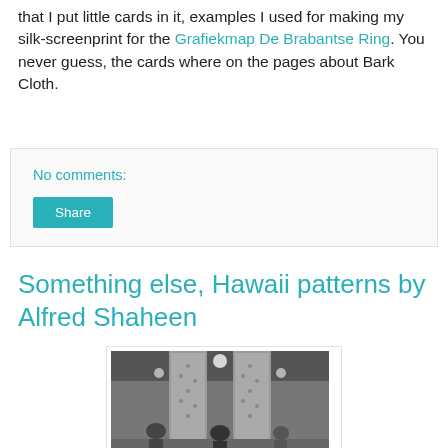that I put little cards in it, examples I used for making my silk-screenprint for the Grafiekmap De Brabantse Ring. You never guess, the cards where on the pages about Bark Cloth.
No comments:
Share
Something else, Hawaii patterns by Alfred Shaheen
[Figure (photo): Black and white photograph showing people standing near a large decorative patterned textile or screen structure in what appears to be an indoor venue with overhead lights.]